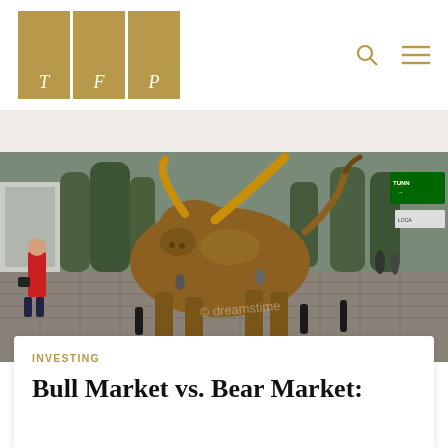[Figure (logo): TFP logo with three gold rectangular columns, each containing a white italic letter: T, F, P]
[Figure (photo): Charging Bull bronze sculpture in New York City street, with pedestrians and trees in background. Dreamsttime watermark visible.]
INVESTING
Bull Market vs. Bear Market: